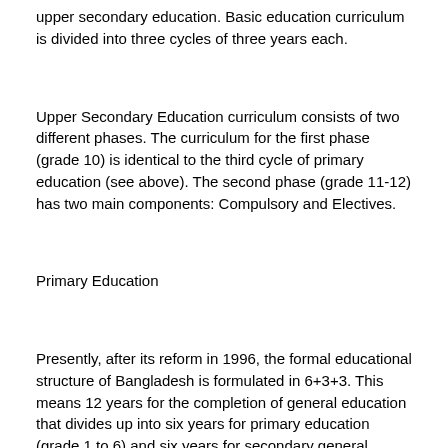upper secondary education. Basic education curriculum is divided into three cycles of three years each.
Upper Secondary Education curriculum consists of two different phases. The curriculum for the first phase (grade 10) is identical to the third cycle of primary education (see above). The second phase (grade 11-12) has two main components: Compulsory and Electives.
Primary Education
Presently, after its reform in 1996, the formal educational structure of Bangladesh is formulated in 6+3+3. This means 12 years for the completion of general education that divides up into six years for primary education (grade 1 to 6) and six years for secondary general education (grade 7 to 12).